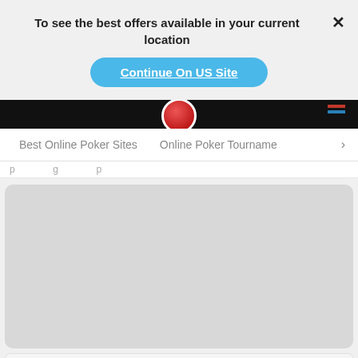To see the best offers available in your current location
Continue On US Site
[Figure (screenshot): Dark banner with poker chips graphic]
Best Online Poker Sites   Online Poker Tourname... >
By continuing to use our site you agree to us using cookies in accordance with our Cookie Policy.
GOT IT